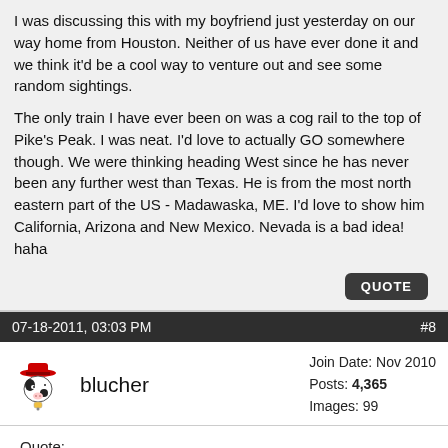I was discussing this with my boyfriend just yesterday on our way home from Houston. Neither of us have ever done it and we think it'd be a cool way to venture out and see some random sightings.

The only train I have ever been on was a cog rail to the top of Pike's Peak. I was neat. I'd love to actually GO somewhere though. We were thinking heading West since he has never been any further west than Texas. He is from the most north eastern part of the US - Madawaska, ME. I'd love to show him California, Arizona and New Mexico. Nevada is a bad idea! haha
07-18-2011, 03:03 PM    #8
blucher   Join Date: Nov 2010  Posts: 4,365  Images: 99
Quote:
Nevada is a bad idea! haha
Wut? No Elvises?